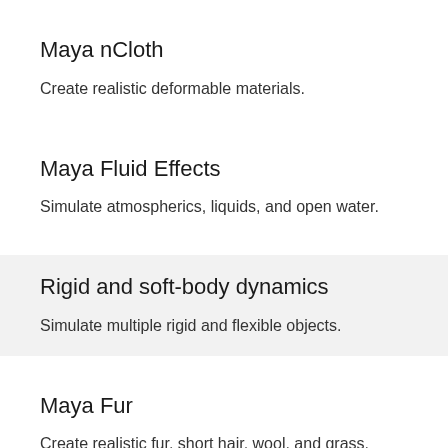Maya nCloth
Create realistic deformable materials.
Maya Fluid Effects
Simulate atmospherics, liquids, and open water.
Rigid and soft-body dynamics
Simulate multiple rigid and flexible objects.
Maya Fur
Create realistic fur, short hair, wool, and grass.
3D ANIMATION